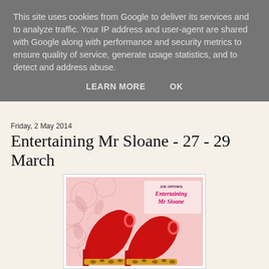This site uses cookies from Google to deliver its services and to analyze traffic. Your IP address and user-agent are shared with Google along with performance and security metrics to ensure quality of service, generate usage statistics, and to detect and address abuse.
LEARN MORE   OK
Friday, 2 May 2014
Entertaining Mr Sloane - 27 - 29 March
[Figure (illustration): Promotional poster for 'Entertaining Mr Sloane' by Joe Orton showing two red high-heeled shoes with leopard print soles on a pink floral background. Text overlay reads 'JOE ORTON'S Entertaining Mr Sloane' in purple and pink script.]